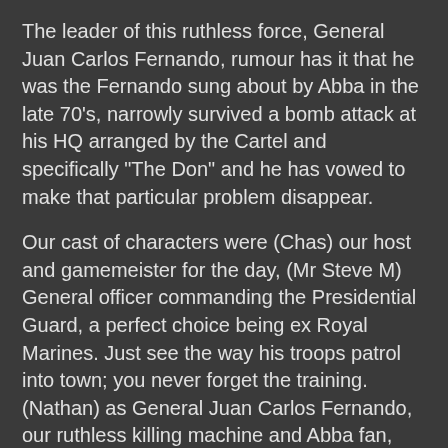The leader of this ruthless force, General Juan Carlos Fernando, rumour has it that he was the Fernando sung about by Abba in the late 70's, narrowly survived a bomb attack at his HQ arranged by the Cartel and specifically "The Don" and he has vowed to make that particular problem disappear.
Our cast of characters were (Chas) our host and gamemeister for the day, (Mr Steve M) General officer commanding the Presidential Guard, a perfect choice being ex Royal Marines. Just see the way his troops patrol into town; you never forget the training. (Nathan) as General Juan Carlos Fernando, our ruthless killing machine and Abba fan, (Tom) the youngest member of the cast led the enthusiastic if somewhat unskilled North and South Boy street gangs who made up for their inability to shoot straight with pure numbers, (Clive) Comrade Che, the special one, the leader of the Communist FARC faction in the country, a skillful, artful politician breaking into the world of kidnapping and narco-economics designed to drive his political ambitions, but as we shall see a terrible driver, all though he blames his girlfriend, I mean secretary; and last but by no